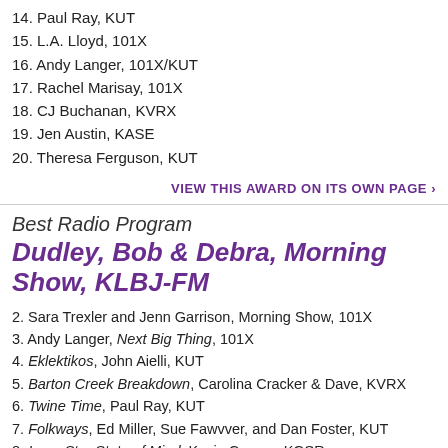14. Paul Ray, KUT
15. L.A. Lloyd, 101X
16. Andy Langer, 101X/KUT
17. Rachel Marisay, 101X
18. CJ Buchanan, KVRX
19. Jen Austin, KASE
20. Theresa Ferguson, KUT
VIEW THIS AWARD ON ITS OWN PAGE ›
Best Radio Program
Dudley, Bob & Debra, Morning Show, KLBJ-FM
2. Sara Trexler and Jenn Garrison, Morning Show, 101X
3. Andy Langer, Next Big Thing, 101X
4. Eklektikos, John Aielli, KUT
5. Barton Creek Breakdown, Carolina Cracker & Dave, KVRX
6. Twine Time, Paul Ray, KUT
7. Folkways, Ed Miller, Sue Fawvver, and Dan Foster, KUT
8. Lone Star State of Mind, Kevin Connor, KGSR
9. House of Phat Beats, Les Jacobs, KVRX
10. Femme FM, Theresa Ferguson, KUT/JB & Sandy in the AM, KAMX